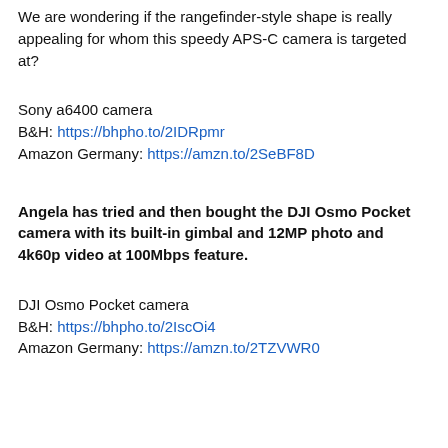We are wondering if the rangefinder-style shape is really appealing for whom this speedy APS-C camera is targeted at?
Sony a6400 camera
B&H: https://bhpho.to/2IDRpmr
Amazon Germany: https://amzn.to/2SeBF8D
Angela has tried and then bought the DJI Osmo Pocket camera with its built-in gimbal and 12MP photo and 4k60p video at 100Mbps feature.
DJI Osmo Pocket camera
B&H: https://bhpho.to/2IscOi4
Amazon Germany: https://amzn.to/2TZVWR0